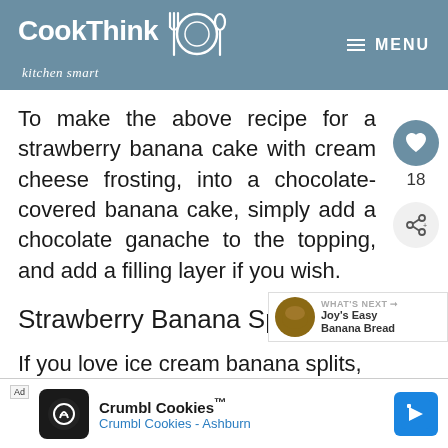CookThink kitchen smart MENU
To make the above recipe for a strawberry banana cake with cream cheese frosting, into a chocolate-covered banana cake, simply add a chocolate ganache to the topping, and add a filling layer if you wish.
Strawberry Banana Split Cake
If you love ice cream banana splits, you will love strawberry banana s...